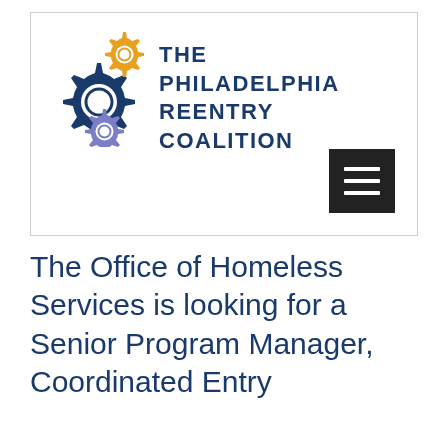[Figure (logo): The Philadelphia Reentry Coalition logo featuring three interlocking gears (large navy blue, small gold, small purple) with the organization name in bold navy uppercase text]
The Office of Homeless Services is looking for a Senior Program Manager, Coordinated Entry